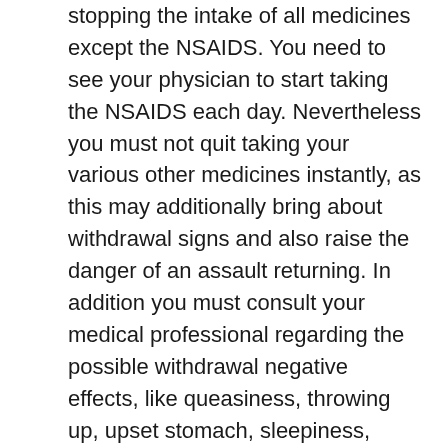stopping the intake of all medicines except the NSAIDS. You need to see your physician to start taking the NSAIDS each day. Nevertheless you must not quit taking your various other medicines instantly, as this may additionally bring about withdrawal signs and also raise the danger of an assault returning. In addition you must consult your medical professional regarding the possible withdrawal negative effects, like queasiness, throwing up, upset stomach, sleepiness, headache and lightheadedness. He might additionally suggest a different therapy for your condition apart from NSAIDS.
Gout pain as well as NSAIDS and their partnership are something that you need to review thoroughly with your doctor. There